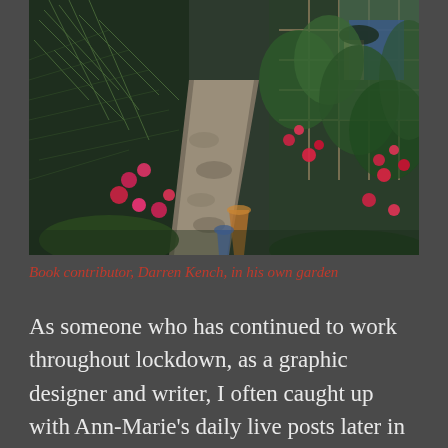[Figure (photo): Garden path with lush green plants, pink and red flowers, terracotta pots, pine tree branches, and a person in the background holding a plant pot near a wooden trellis]
Book contributor, Darren Kench, in his own garden
As someone who has continued to work throughout lockdown, as a graphic designer and writer, I often caught up with Ann-Marie's daily live posts later in the evening, but missed that instantaneous connection they provided, until the weekend when I could tune in live and hang out, online, with the rest of the My Real